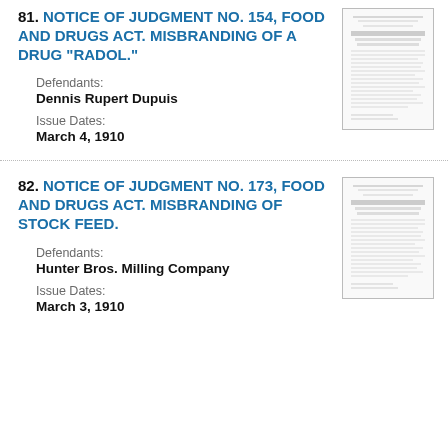81. NOTICE OF JUDGMENT NO. 154, FOOD AND DRUGS ACT. MISBRANDING OF A DRUG "RADOL."
Defendants:
Dennis Rupert Dupuis
Issue Dates:
March 4, 1910
82. NOTICE OF JUDGMENT NO. 173, FOOD AND DRUGS ACT. MISBRANDING OF STOCK FEED.
Defendants:
Hunter Bros. Milling Company
Issue Dates:
March 3, 1910